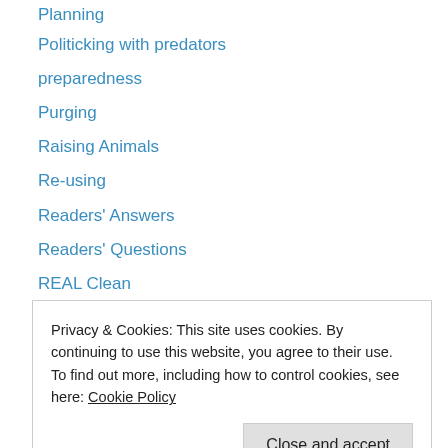Planning
Politicking with predators
preparedness
Purging
Raising Animals
Re-using
Readers' Answers
Readers' Questions
REAL Clean
Real Food Challenge
REAL Holidays
REAL life
REAL Local
REAL renovations
Privacy & Cookies: This site uses cookies. By continuing to use this website, you agree to their use.
To find out more, including how to control cookies, see here: Cookie Policy
Seasons